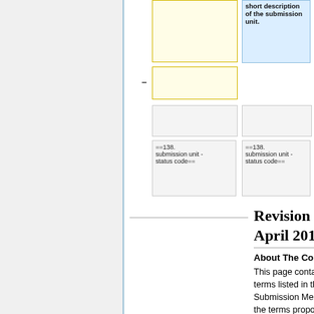[Figure (flowchart): Partial wiki flowchart diagram showing yellow boxes, a blue highlighted box with text 'short description of the submission unit.', gray empty boxes, and two code boxes reading '==138. submission unit - status code==']
Revision as of 19:15, 20 April 2011
About The Content Of This Page:
This page contains the definitions of the terms listed in the current RPS R3 Submission Message (SM) document plus the terms proposed for inclusion in the glossary. Each entry is labeled as a